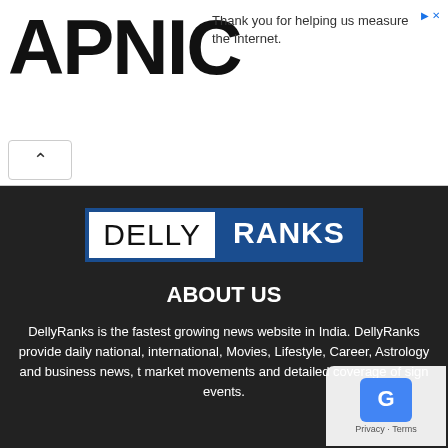[Figure (logo): APNIC logo in large bold black text]
Thank you for helping us measure the Internet.
[Figure (logo): DellyRanks logo — DELLY in white box with blue border, RANKS in white text on blue background]
ABOUT US
DellyRanks is the fastest growing news website in India. DellyRanks provide daily national, international, Movies, Lifestyle, Career, Astrology and business news, t… market movements and detailed coverage of sign… events.